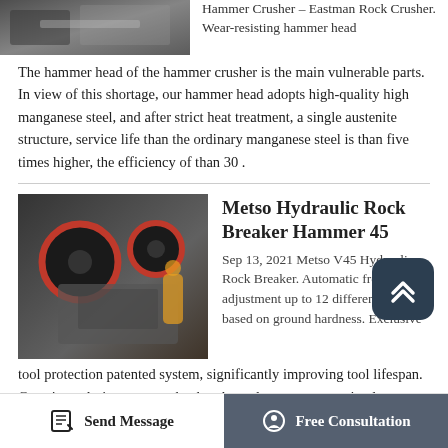[Figure (photo): Partial view of a hammer crusher / rock crushing machine at top left]
Hammer Crusher – Eastman Rock Crusher. Wear-resisting hammer head
The hammer head of the hammer crusher is the main vulnerable parts. In view of this shortage, our hammer head adopts high-quality high manganese steel, and after strict heat treatment, a single austenite structure, service life than the ordinary manganese steel is than five times higher, the efficiency of than 30 .
[Figure (photo): Industrial jaw crusher machine with two large red-rimmed wheels, photographed in a factory setting]
Metso Hydraulic Rock Breaker Hammer 45
Sep 13, 2021 Metso V45 Hydraulic Rock Breaker. Automatic frequency adjustment up to 12 different speeds based on ground hardness. Exclusive tool protection patented system, significantly improving tool lifespan. Greasing solutions ensure that breakers always get an optimal grease supply. The V45 hydraulic rock breaker is known for the following features